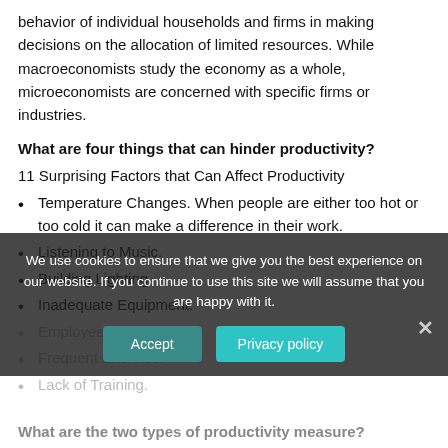behavior of individual households and firms in making decisions on the allocation of limited resources. While macroeconomists study the economy as a whole, microeconomists are concerned with specific firms or industries.
What are four things that can hinder productivity?
11 Surprising Factors that Can Affect Productivity
Temperature Changes. When people are either too hot or too cold it can make a difference in their work.
Listening to Music.
Building Lighting.
Inadequate Equipment.
Employee Satisfaction.
Frequent Exercise.
Lack of Training.
We use cookies to ensure that we give you the best experience on our website. If you continue to use this site we will assume that you are happy with it.
What are the two types of productivity measure?